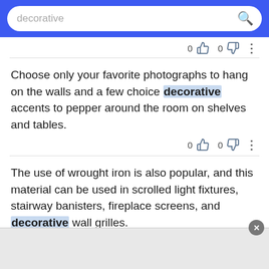decorative [search bar]
Choose only your favorite photographs to hang on the walls and a few choice decorative accents to pepper around the room on shelves and tables.
The use of wrought iron is also popular, and this material can be used in scrolled light fixtures, stairway banisters, fireplace screens, and decorative wall grilles.